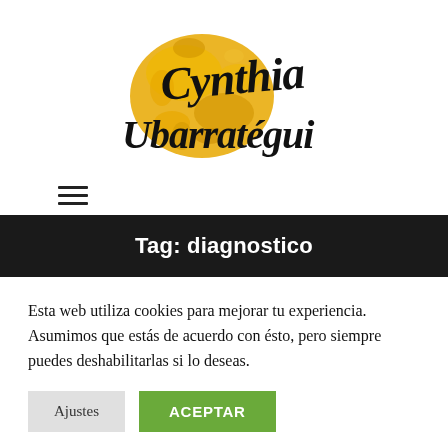[Figure (logo): Cynthia Ubarratégui handwritten script logo with yellow/orange ink splash background]
[Figure (other): Hamburger menu icon (three horizontal lines)]
Tag: diagnostico
Esta web utiliza cookies para mejorar tu experiencia. Asumimos que estás de acuerdo con ésto, pero siempre puedes deshabilitarlas si lo deseas.
Ajustes   ACEPTAR